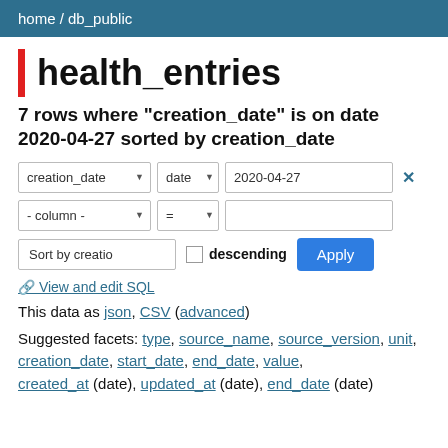home / db_public
health_entries
7 rows where "creation_date" is on date 2020-04-27 sorted by creation_date
[Figure (screenshot): Filter UI with two filter rows: first row has 'creation_date' dropdown, 'date' dropdown, '2020-04-27' text input, and an X button. Second row has '- column -' dropdown, '=' dropdown, and an empty text input. Below is a sort row with 'Sort by creatio' button, descending checkbox, and Apply button.]
View and edit SQL
This data as json, CSV (advanced)
Suggested facets: type, source_name, source_version, unit, creation_date, start_date, end_date, value, created_at (date), updated_at (date), end_date (date)